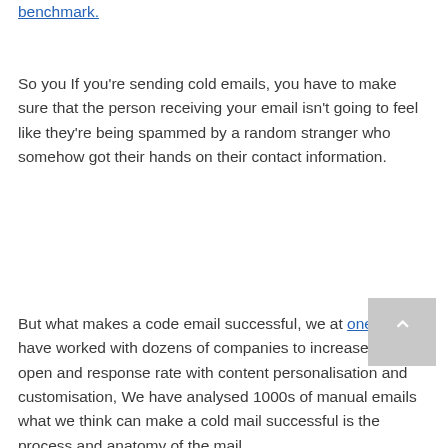benchmark.
So you If you're sending cold emails, you have to make sure that the person receiving your email isn't going to feel like they're being spammed by a random stranger who somehow got their hands on their contact information.
But what makes a code email successful, we at oneshot.ai have worked with dozens of companies to increase their open and response rate with content personalisation and customisation, We have analysed 1000s of manual emails what we think can make a cold mail successful is the process and anatomy of the mail